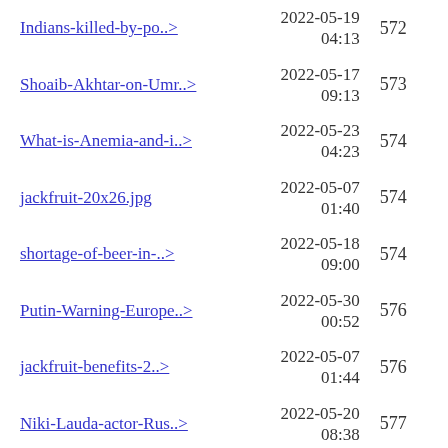| Name | Date | Number |
| --- | --- | --- |
| Indians-killed-by-po..> | 2022-05-19 04:13 | 572 |
| Shoaib-Akhtar-on-Umr..> | 2022-05-17 09:13 | 573 |
| What-is-Anemia-and-i..> | 2022-05-23 04:23 | 574 |
| jackfruit-20x26.jpg | 2022-05-07 01:40 | 574 |
| shortage-of-beer-in-..> | 2022-05-18 09:00 | 574 |
| Putin-Warning-Europe..> | 2022-05-30 00:52 | 576 |
| jackfruit-benefits-2..> | 2022-05-07 01:44 | 576 |
| Niki-Lauda-actor-Rus..> | 2022-05-20 08:38 | 577 |
| champion-generator-2..> | 2022-05-03 07:43 | 577 |
| expensive-liquors-20..> | 2022-06-04 06:33 | 579 |
| Brett-Lee-Fan-Moment..> | 2022-05-17 08:57 | 580 |
| (partial row) | 2022-05-30 |  |